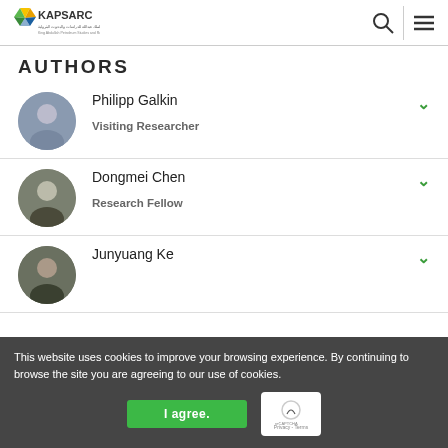KAPSARC — King Abdullah Petroleum Studies and Research Center
AUTHORS
Philipp Galkin — Visiting Researcher
Dongmei Chen — Research Fellow
Junyuang Ke
This website uses cookies to improve your browsing experience. By continuing to browse the site you are agreeing to our use of cookies.